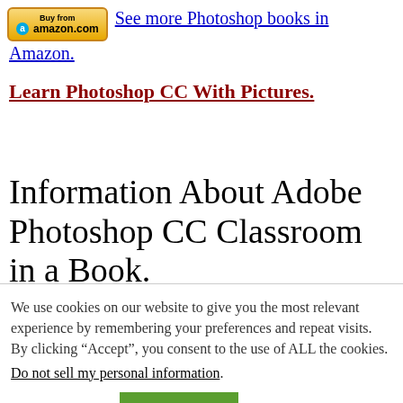[Figure (logo): Amazon Buy from amazon.com button logo]
See more Photoshop books in Amazon.
Learn Photoshop CC With Pictures.
Information About Adobe Photoshop CC Classroom in a Book.
We use cookies on our website to give you the most relevant experience by remembering your preferences and repeat visits. By clicking “Accept”, you consent to the use of ALL the cookies.
Do not sell my personal information.
Cookie settings  ACCEPT